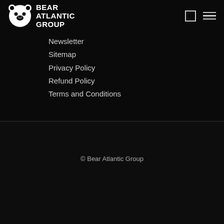[Figure (logo): Bear Atlantic Group logo with bear icon and text 'BEAR ATLANTIC GROUP' in white on black background]
Newsletter
Sitemap
Privacy Policy
Refund Policy
Terms and Conditions
© Bear Atlantic Group